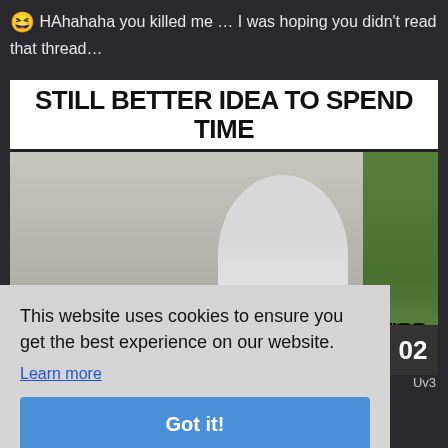😆 HAhahaha you killed me … I was hoping you didn't read that thread…
[Figure (screenshot): Meme image with white top banner text reading 'STILL BETTER IDEA TO SPEND TIME', showing a man facing a whiteboard wall, with greenery on the right side. Partially visible bottom text reads 'READ AB THREAD ABOUT FUTURE UPDATES OF NANOSTUDIO2']
This website uses cookies to ensure you get the best experience on our website.
Learn more
Got it!
plugins; I saw mentioned at facebook ff ad musician